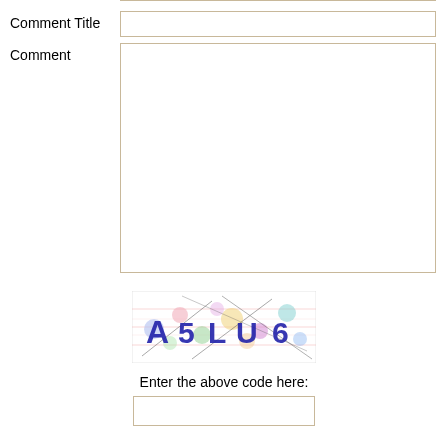Comment Title
Comment
[Figure (other): CAPTCHA image showing distorted text 'A 5 L U 6' with colorful dots and crossing lines on a lined background]
Enter the above code here: